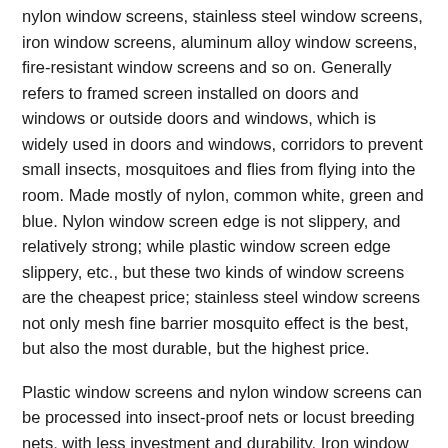nylon window screens, stainless steel window screens, iron window screens, aluminum alloy window screens, fire-resistant window screens and so on. Generally refers to framed screen installed on doors and windows or outside doors and windows, which is widely used in doors and windows, corridors to prevent small insects, mosquitoes and flies from flying into the room. Made mostly of nylon, common white, green and blue. Nylon window screen edge is not slippery, and relatively strong; while plastic window screen edge slippery, etc., but these two kinds of window screens are the cheapest price; stainless steel window screens not only mesh fine barrier mosquito effect is the best, but also the most durable, but the highest price.
Plastic window screens and nylon window screens can be processed into insect-proof nets or locust breeding nets, with less investment and durability. Iron window yarn generally refers to the window yarn made of thin metal wire woven mesh fabric. Its function is the same as nylon window yarn. Invisible window